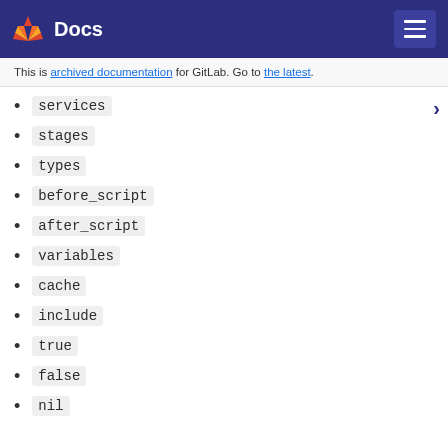Docs
This is archived documentation for GitLab. Go to the latest.
services
stages
types
before_script
after_script
variables
cache
include
true
false
nil